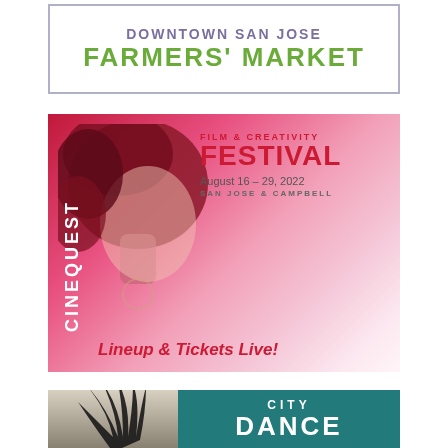[Figure (logo): Downtown San Jose Farmers' Market advertisement banner with purple and green text on white background with purple border]
[Figure (illustration): Cinequest Film & Creativity Festival advertisement. August 16-29, 2022, San Jose & Campbell. Features woman's face silhouette with red/pink watercolor background, vertical 'CINEQUEST' text, and 'Lineup & Tickets Live!' text in red italic.]
[Figure (illustration): City Dance advertisement with black feather/palm frond photo on left and teal background with 'CITY DANCE' text on right]